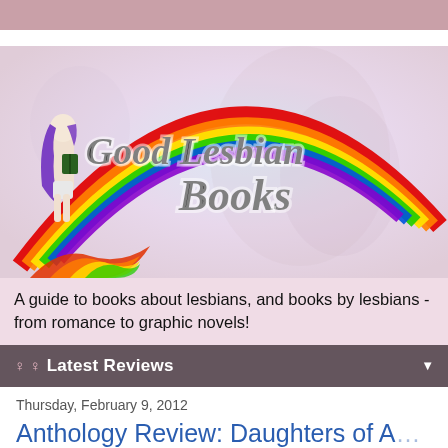[Figure (illustration): Good Lesbian Books website banner: illustrated woman with purple hair holding a book standing beside a large rainbow arc on a soft pink/blue background, with the text 'Good Lesbian Books' in bold italic script]
A guide to books about lesbians, and books by lesbians - from romance to graphic novels!
♀ ♀  Latest Reviews
Thursday, February 9, 2012
Anthology Review: Daughters of Artemis